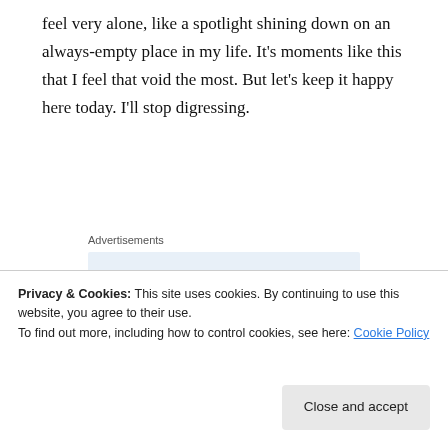feel very alone, like a spotlight shining down on an always-empty place in my life. It’s moments like this that I feel that void the most. But let’s keep it happy here today. I’ll stop digressing.
Advertisements
I knew in advance that Dr. Goodman would be doing my transfer (f/k/a “Dr. G,” but in keeping in line with pseudonyms I want her to have a more “real” fake name if you follow me). This
Privacy & Cookies: This site uses cookies. By continuing to use this website, you agree to their use.
To find out more, including how to control cookies, see here: Cookie Policy
Close and accept
another woman could know my uterus so well. Or that I’d ever